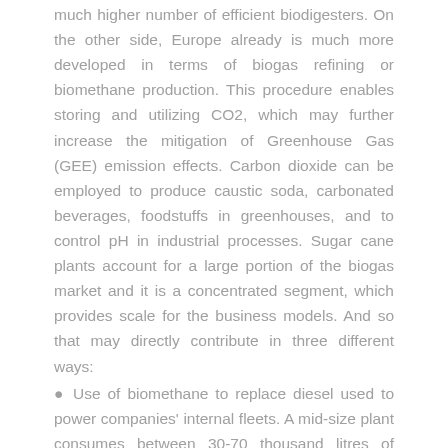much higher number of efficient biodigesters. On the other side, Europe already is much more developed in terms of biogas refining or biomethane production. This procedure enables storing and utilizing CO2, which may further increase the mitigation of Greenhouse Gas (GEE) emission effects. Carbon dioxide can be employed to produce caustic soda, carbonated beverages, foodstuffs in greenhouses, and to control pH in industrial processes. Sugar cane plants account for a large portion of the biogas market and it is a concentrated segment, which provides scale for the business models. And so that may directly contribute in three different ways:
● Use of biomethane to replace diesel used to power companies' internal fleets. A mid-size plant consumes between 30-70 thousand litres of diesel per day during harvesting.